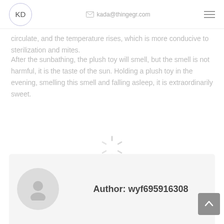KD  kada@thingegr.com
circulate, and the temperature rises, which is more conducive to sterilization and mites.
After the sunbathing, the plush toy will smell, but the smell is not harmful, it is the taste of the sun. Holding a plush toy in the evening, smelling this smell and falling asleep, it is extraordinarily sweet.
[Figure (other): Loading spinner / activity indicator graphic]
Category: Blogs • By wyf695916308 • 2018-08-01 • 1 Comment
Author: wyf695916308